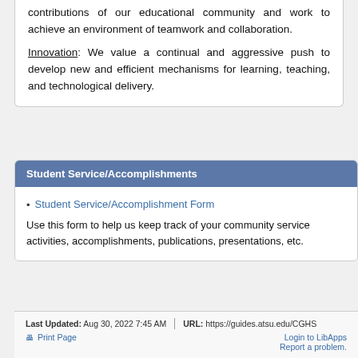contributions of our educational community and work to achieve an environment of teamwork and collaboration.
Innovation: We value a continual and aggressive push to develop new and efficient mechanisms for learning, teaching, and technological delivery.
Student Service/Accomplishments
Student Service/Accomplishment Form
Use this form to help us keep track of your community service activities, accomplishments, publications, presentations, etc.
Last Updated: Aug 30, 2022 7:45 AM | URL: https://guides.atsu.edu/CGHS | Print Page | Login to LibApps | Report a problem.